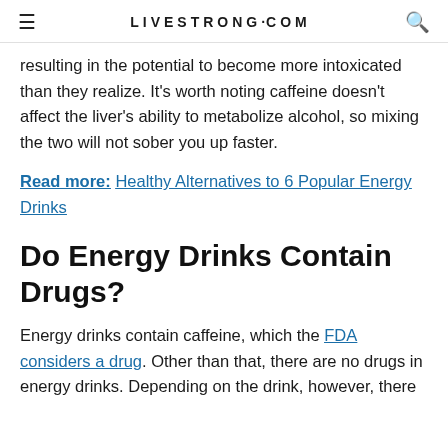LIVESTRONG.COM
resulting in the potential to become more intoxicated than they realize. It's worth noting caffeine doesn't affect the liver's ability to metabolize alcohol, so mixing the two will not sober you up faster.
Read more: Healthy Alternatives to 6 Popular Energy Drinks
Do Energy Drinks Contain Drugs?
Energy drinks contain caffeine, which the FDA considers a drug. Other than that, there are no drugs in energy drinks. Depending on the drink, however, there